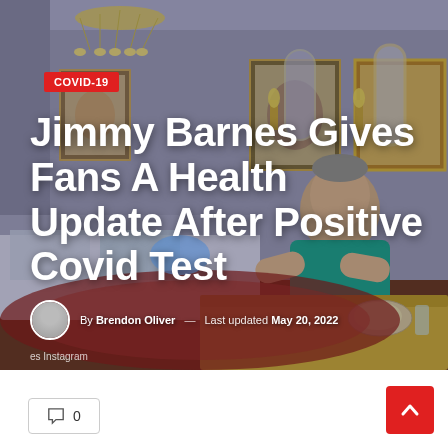[Figure (photo): Hero image of Jimmy Barnes, a man in a teal shirt, sitting at a dining table in an elegantly decorated room with chandelier, mirrors, and artwork on the walls. The image has the headline overlaid on it.]
Jimmy Barnes Gives Fans A Health Update After Positive Covid Test
By Brendon Oliver — Last updated May 20, 2022
es Instagram
0
[Figure (illustration): Red scroll-to-top arrow button]